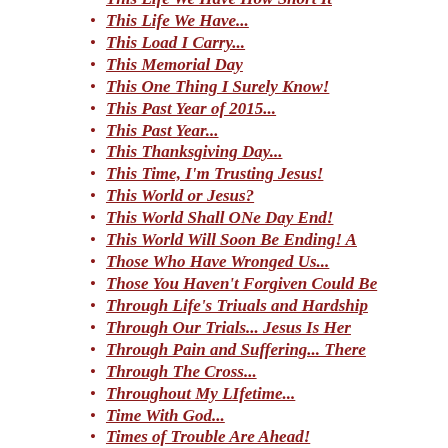This Life We Have How Short It
This Life We Have...
This Load I Carry...
This Memorial Day
This One Thing I Surely Know!
This Past Year of 2015...
This Past Year...
This Thanksgiving Day...
This Time, I'm Trusting Jesus!
This World or Jesus?
This World Shall ONe Day End!
This World Will Soon Be Ending! A
Those Who Have Wronged Us...
Those You Haven't Forgiven Could Be
Through Life's Triuals and Hardship
Through Our Trials... Jesus Is Her
Through Pain and Suffering... There
Through The Cross...
Throughout My LIfetime...
Time With God...
Times of Trouble Are Ahead!
Times of Trouble Are Ahead!
To A Special Mother...
To Charlie...
To Eda And Randy...
To Jack and Gina
To Know Jesus Is to Love Him!
To Know the Fellowship of Christ' S
To Live Is Christ!
To my brother Tony....
To My Christian Habit...